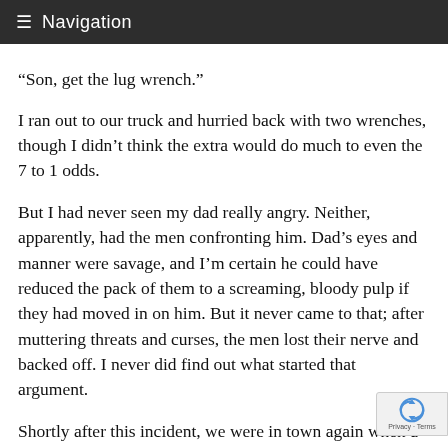Navigation
“Son, get the lug wrench.”
I ran out to our truck and hurried back with two wrenches, though I didn’t think the extra would do much to even the 7 to 1 odds.
But I had never seen my dad really angry. Neither, apparently, had the men confronting him. Dad’s eyes and manner were savage, and I’m certain he could have reduced the pack of them to a screaming, bloody pulp if they had moved in on him. But it never came to that; after muttering threats and curses, the men lost their nerve and backed off. I never did find out what started that argument.
Shortly after this incident, we were in town again when a towering, bull-shaped man accosted Dad and